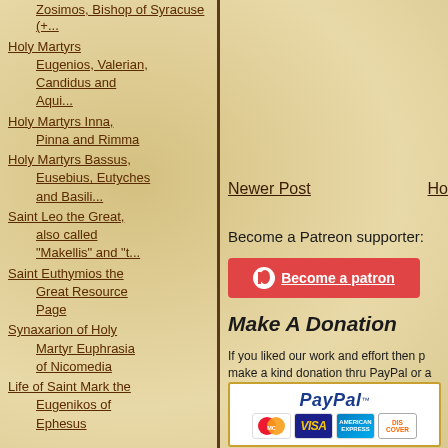Zosimos, Bishop of Syracuse (+...
Holy Martyrs Eugenios, Valerian, Candidus and Aqui...
Holy Martyrs Inna, Pinna and Rimma
Holy Martyrs Bassus, Eusebius, Eutyches and Basili...
Saint Leo the Great, also called "Makellis" and "t...
Saint Euthymios the Great Resource Page
Synaxarion of Holy Martyr Euphrasia of Nicomedia
Life of Saint Mark the Eugenikos of Ephesus
Newer Post
Ho
Become a Patreon supporter:
[Figure (other): Patreon become a patron button (red background)]
Make A Donation
If you liked our work and effort then p... make a kind donation thru PayPal or a
[Figure (other): PayPal donation box with credit card logos: MasterCard, VISA, American Express, Discover]